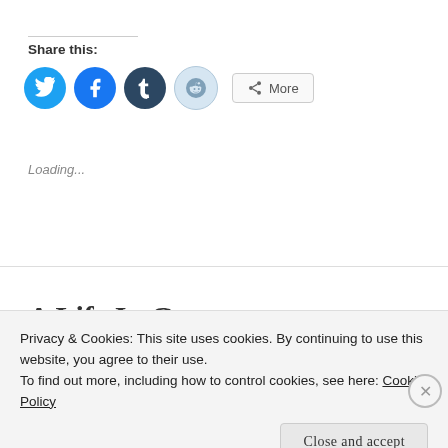Share this:
[Figure (other): Social sharing icons row: Twitter (blue circle), Facebook (blue circle), Tumblr (dark navy circle), Reddit (light blue circle), and a More button]
Loading...
A Life In Grey
Privacy & Cookies: This site uses cookies. By continuing to use this website, you agree to their use. To find out more, including how to control cookies, see here: Cookie Policy
Close and accept